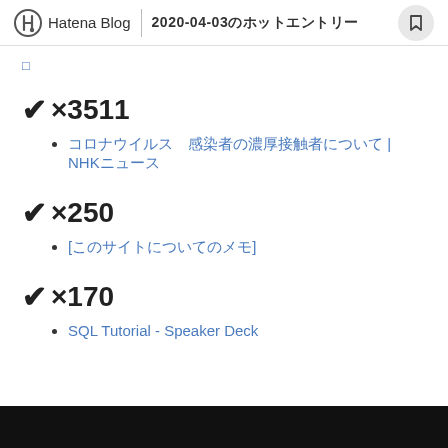Hatena Blog | 2020-04-03のホットエントリー
□
✔×3511
コロナウイルス 感染者の濃厚接触者について | NHKニュース
✔×250
[このサイトについてのメモ]
✔×170
SQL Tutorial - Speaker Deck